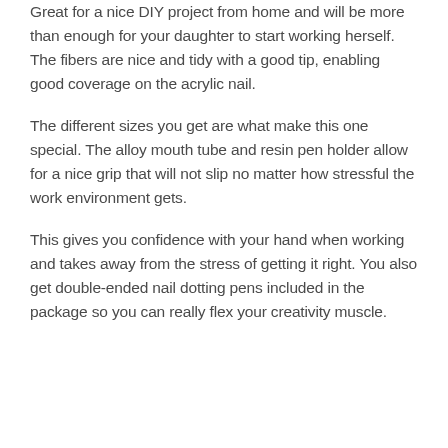Great for a nice DIY project from home and will be more than enough for your daughter to start working herself. The fibers are nice and tidy with a good tip, enabling good coverage on the acrylic nail.
The different sizes you get are what make this one special. The alloy mouth tube and resin pen holder allow for a nice grip that will not slip no matter how stressful the work environment gets.
This gives you confidence with your hand when working and takes away from the stress of getting it right. You also get double-ended nail dotting pens included in the package so you can really flex your creativity muscle.